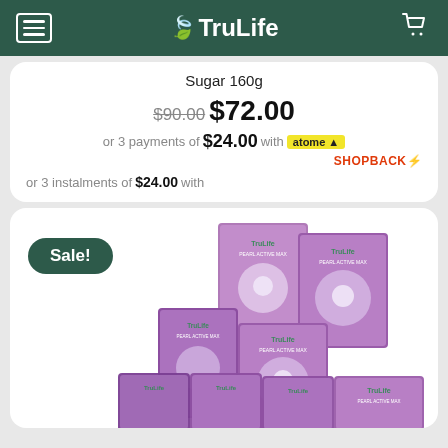TruLife
Sugar 160g
$90.00 $72.00
or 3 payments of $24.00 with atome SHOPBACK
or 3 instalments of $24.00 with
[Figure (photo): TruLife Pearl Active product boxes arranged in a pyramid on a purple background, showing multiple product boxes with pearl imagery]